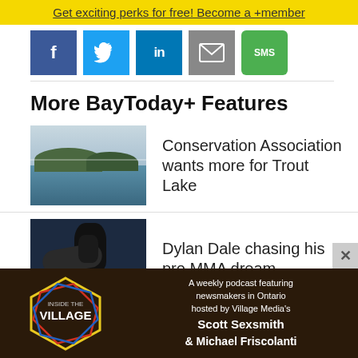Get exciting perks for free! Become a +member
[Figure (other): Social sharing icons row: Facebook (blue), Twitter (light blue), LinkedIn (dark blue), Email (grey), SMS (green)]
More BayToday+ Features
[Figure (photo): Thumbnail photo of a lake scene with hills and sky - Trout Lake]
Conservation Association wants more for Trout Lake
[Figure (photo): Thumbnail photo of two MMA fighters grappling on a mat]
Dylan Dale chasing his pro MMA dream
[Figure (infographic): Inside The Village podcast advertisement banner. Dark brown background with colorful hexagonal logo. Text: A weekly podcast featuring newsmakers in Ontario hosted by Village Media's Scott Sexsmith & Michael Friscolanti]